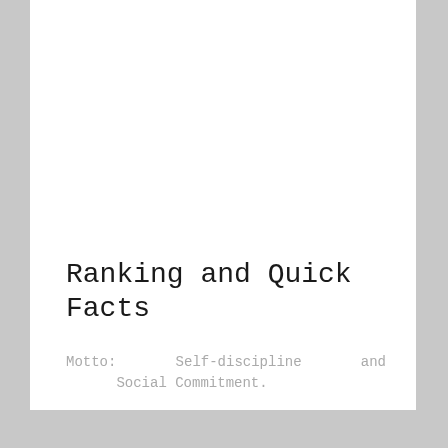Ranking and Quick Facts
Motto: Self-discipline and Social Commitment.